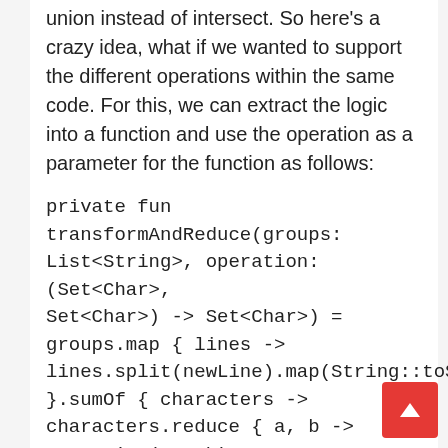union instead of intersect. So here's a crazy idea, what if we wanted to support the different operations within the same code. For this, we can extract the logic into a function and use the operation as a parameter for the function as follows:
private fun transformAndReduce(groups: List<String>, operation: (Set<Char>, Set<Char>) -> Set<Char>) =
groups.map { lines ->
lines.split(newLine).map(String::toSet)
}.sumOf { characters ->
characters.reduce { a, b -> operation(a , b)
}.count()
}
val firstAnswer = transformAndReduce(groups,